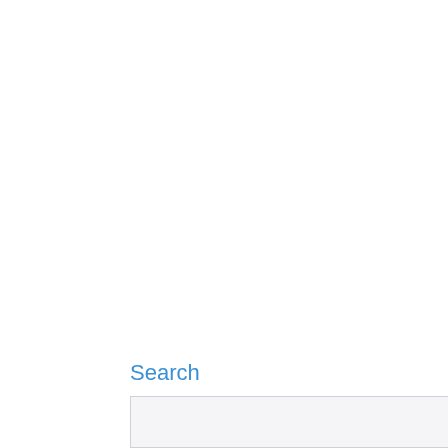Search
[Figure (screenshot): Search input field (light gray background, bordered rectangle)]
[Figure (screenshot): Search button with partial text 'Search' and an orange circular button with a coffee cup icon overlapping the bottom-right corner]